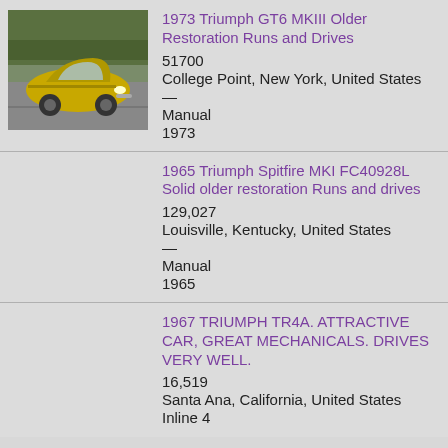[Figure (photo): Yellow 1973 Triumph GT6 MKIII car parked in a lot, front view, trees in background]
1973 Triumph GT6 MKIII Older Restoration Runs and Drives
51700
College Point, New York, United States
—
Manual
1973
1965 Triumph Spitfire MKI FC40928L Solid older restoration Runs and drives
129,027
Louisville, Kentucky, United States
—
Manual
1965
1967 TRIUMPH TR4A. ATTRACTIVE CAR, GREAT MECHANICALS. DRIVES VERY WELL.
16,519
Santa Ana, California, United States
Inline 4